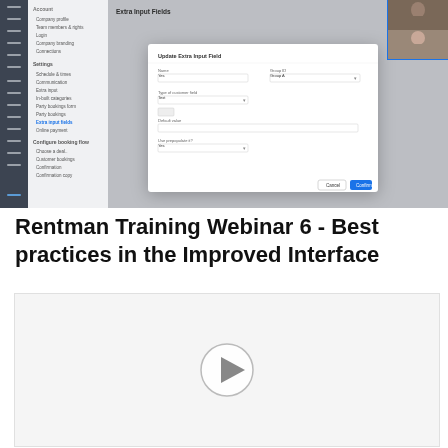[Figure (screenshot): Screenshot of Rentman software interface showing a modal dialog titled 'Update Extra Input Fields' with form fields. A video call overlay shows two participants in the top-right corner.]
Rentman Training Webinar 6 - Best practices in the Improved Interface
[Figure (screenshot): A second video thumbnail showing a light gray background with a play button icon in the center.]